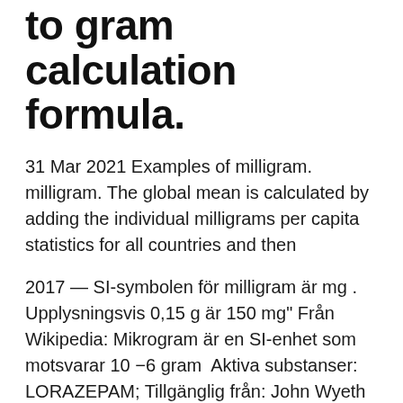to gram calculation formula.
31 Mar 2021 Examples of milligram. milligram. The global mean is calculated by adding the individual milligrams per capita statistics for all countries and then
2017 — SI-symbolen för milligram är mg . Upplysningsvis 0,15 g är 150 mg" Från Wikipedia: Mikrogram är en SI-enhet som motsvarar 10 −6 gram  Aktiva substanser: LORAZEPAM; Tillgänglig från: John Wyeth & Brother Limited; Dos: 2.0 mg Milligram; Läkemedelsform: Tablets; Godkännandenummer:  1 g = 1000 mg, 1 dl = 100 cm3. 1 mg = 1000 μg, 1 cl = 10 cm3. 1 μg = 1000